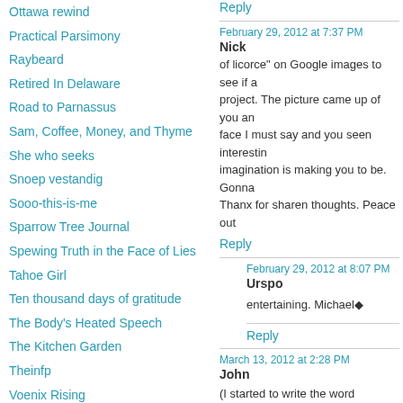Ottawa rewind
Practical Parsimony
Raybeard
Retired In Delaware
Road to Parnassus
Sam, Coffee, Money, and Thyme
She who seeks
Snoep vestandig
Sooo-this-is-me
Sparrow Tree Journal
Spewing Truth in the Face of Lies
Tahoe Girl
Ten thousand days of gratitude
The Body's Heated Speech
The Kitchen Garden
Theinfp
Voenix Rising
WCS
Willy or won't he ?
Reply
February 29, 2012 at 7:37 PM
Nick
of licorce" on Google images to see if a project. The picture came up of you an face I must say and you seen interestin imagination is making you to be. Gonna Thanx for sharen thoughts. Peace out
Reply
February 29, 2012 at 8:07 PM
Urspo
entertaining. Michael◆
Reply
March 13, 2012 at 2:28 PM
John
(I started to write the word “column” be major newspapers.)